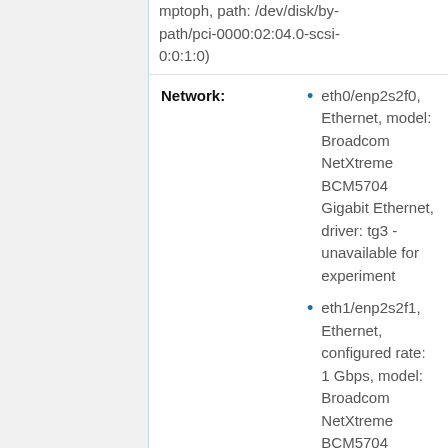mptoph, path: /dev/disk/by-path/pci-0000:02:04.0-scsi-0:0:1:0)
Network:
eth0/enp2s2f0, Ethernet, model: Broadcom NetXtreme BCM5704 Gigabit Ethernet, driver: tg3 - unavailable for experiment
eth1/enp2s2f1, Ethernet, configured rate: 1 Gbps, model: Broadcom NetXtreme BCM5704 Gigabit Ethernet, driver: tg3
sagittaire-[11-12] (2 nodes, 4 cpus, 4 cores)
Model:
Sun Fire V20z